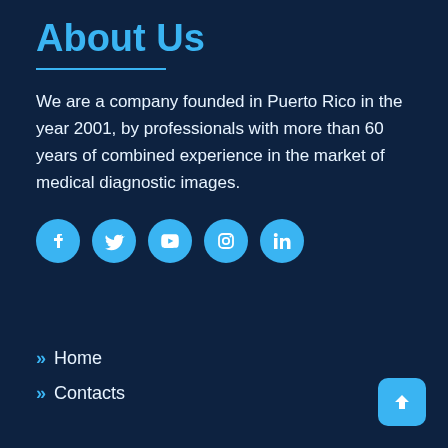About Us
We are a company founded in Puerto Rico in the year 2001, by professionals with more than 60 years of combined experience in the market of medical diagnostic images.
[Figure (infographic): Five circular social media icons in blue: Facebook, Twitter, YouTube, Instagram, LinkedIn]
» Home
» Contacts